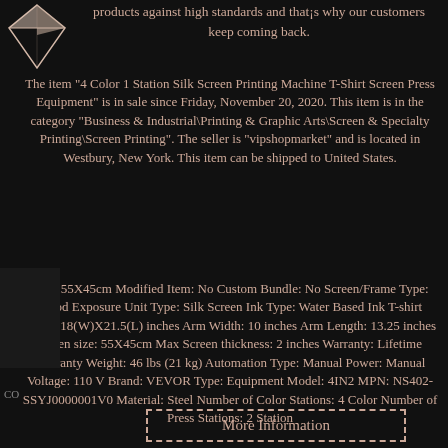products against high standards and that¡¯s why our customers keep coming back.
The item "4 Color 1 Station Silk Screen Printing Machine T-Shirt Screen Press Equipment" is in sale since Friday, November 20, 2020. This item is in the category "Business & Industrial\Printing & Graphic Arts\Screen & Specialty Printing\Screen Printing". The seller is "vipshopmarket" and is located in Westbury, New York. This item can be shipped to United States.
Size: 55X45cm Modified Item: No Custom Bundle: No Screen/Frame Type: Wood Exposure Unit Type: Silk Screen Ink Type: Water Based Ink T-shirt board: 18(W)X21.5(L) inches Arm Width: 10 inches Arm Length: 13.25 inches Platen size: 55X45cm Max Screen thickness: 2 inches Warranty: Lifetime Warranty Weight: 46 lbs (21 kg) Automation Type: Manual Power: Manual Voltage: 110 V Brand: VEVOR Type: Equipment Model: 4IN2 MPN: NS402-SSYJ0000001V0 Material: Steel Number of Color Stations: 4 Color Number of Press Stations: 2 Station
More Information